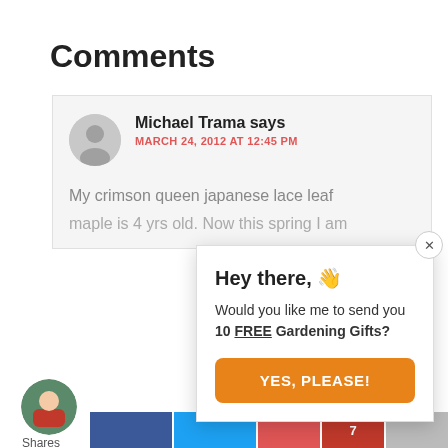Comments
Michael Trama says
MARCH 24, 2012 AT 12:45 PM
My crimson queen japanese lace leaf maple is 4 yrs old. Now this spring I am
Hey there, 👋 Would you like me to send you 10 FREE Gardening Gifts?
YES, PLEASE!
Shares